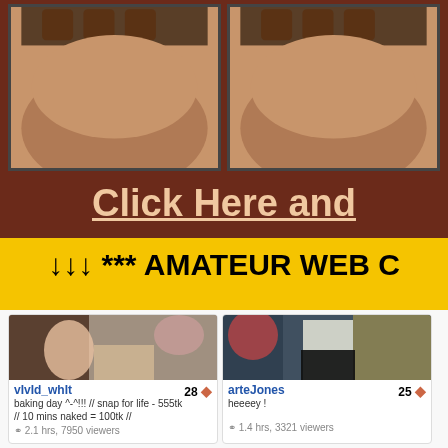[Figure (screenshot): Two cropped photo thumbnails on a dark brown/maroon background at the top of the page]
Click Here and
↓↓↓ *** AMATEUR WEB C
[Figure (screenshot): Webcam screenshot of vivid_whit, a woman in a kitchen setting]
vivId_whIt   28
baking day ^-^!!! // snap for life - 555tk // 10 mins naked = 100tk //
2.1 hrs, 7950 viewers
[Figure (screenshot): Webcam screenshot of arteJones, person in white shirt in a studio setting]
arteJones   25
heeeey !
1.4 hrs, 3321 viewers